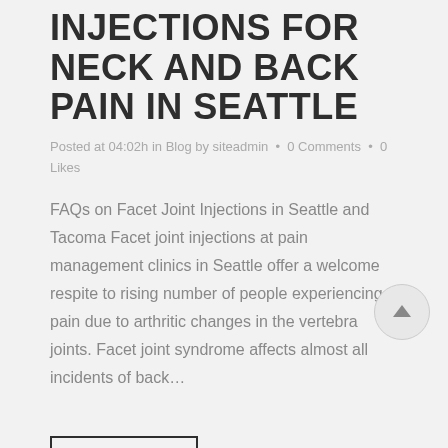INJECTIONS FOR NECK AND BACK PAIN IN SEATTLE
Posted at 04:02h in Blog by siteadmin · 0 Comments · 0 Likes
FAQs on Facet Joint Injections in Seattle and Tacoma Facet joint injections at pain management clinics in Seattle offer a welcome respite to rising number of people experiencing pain due to arthritic changes in the vertebra joints. Facet joint syndrome affects almost all incidents of back...
Read More